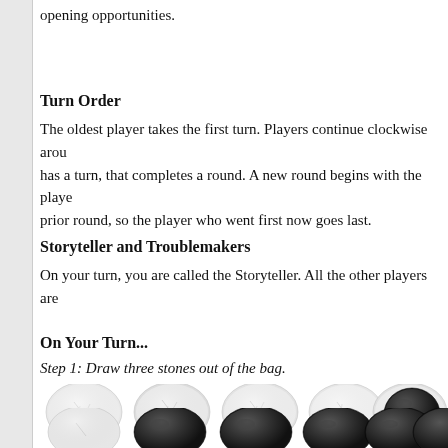opening opportunities.
Turn Order
The oldest player takes the first turn. Players continue clockwise around the table. When every player has a turn, that completes a round. A new round begins with the player to the left of the first player of the prior round, so the player who went first now goes last.
Storyteller and Troublemakers
On your turn, you are called the Storyteller. All the other players are
On Your Turn...
Step 1: Draw three stones out of the bag.
[Figure (photo): Two rows of stone images: top row shows 3 white/light cracked stones on the left and 2 white stones plus 1 black stone on the right; bottom row shows 1 white stone and 2 black stones on the left, and 3 black stones on the right.]